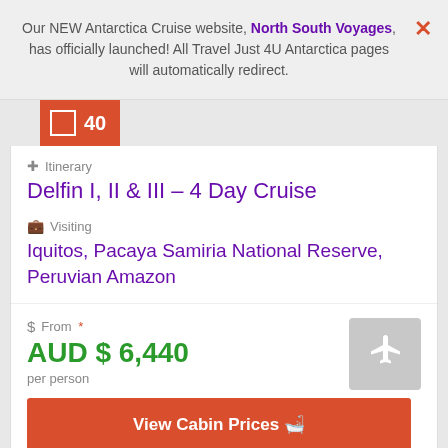Our NEW Antarctica Cruise website, North South Voyages, has officially launched! All Travel Just 4U Antarctica pages will automatically redirect.
40
Itinerary
Delfin I, II & III – 4 Day Cruise
Visiting
Iquitos, Pacaya Samiria National Reserve, Peruvian Amazon
From *
AUD $ 6,440
per person
[Figure (illustration): Airplane icon in a grey rounded square]
View Cabin Prices